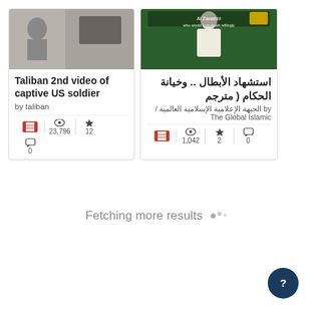[Figure (screenshot): Thumbnail image of a video card - Taliban 2nd video of captive US soldier, showing a blurred/grainy scene]
Taliban 2nd video of captive US soldier
by taliban
23,796 views | 12 favorites | 0 comments
[Figure (screenshot): Thumbnail image of a video card in Arabic - showing a person in white clothing on a green background with Arabic text overlay]
استشهاد الأبطال .. وخيانة الحكام ( مترجم
by الجبهة الإعلامية الإسلامية العالمية / The Global Islamic
1,042 views | 2 favorites | 0 comments
Fetching more results ·,